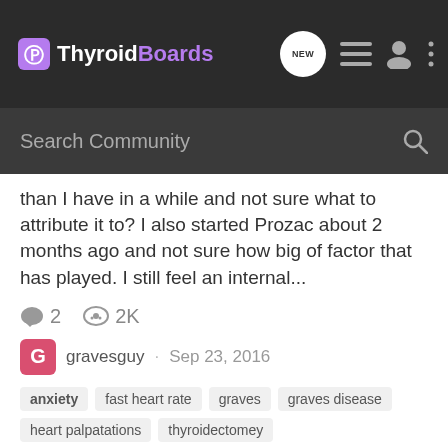ThyroidBoards
than I have in a while and not sure what to attribute it to? I also started Prozac about 2 months ago and not sure how big of factor that has played. I still feel an internal...
2  2K
gravesguy · Sep 23, 2016
anxiety  fast heart rate  graves  graves disease  heart palpatations  thyroidectomey
Labs improving slightly, High RT3, still have symptoms
Lab Results Discussion Boards
I have heart palps, this internal weakness/shaking feeling and fast heart rate with anxiety. Pretty much all started when